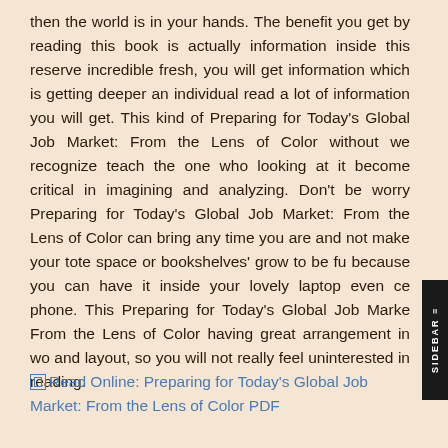then the world is in your hands. The benefit you get by reading this book is actually information inside this reserve incredible fresh, you will get information which is getting deeper an individual read a lot of information you will get. This kind of Preparing for Today’s Global Job Market: From the Lens of Color without we recognize teach the one who looking at it become critical in imagining and analyzing. Don’t be worry Preparing for Today’s Global Job Market: From the Lens of Color can bring any time you are and not make your tote space or bookshelves’ grow to be fu because you can have it inside your lovely laptop even ce phone. This Preparing for Today’s Global Job Marke From the Lens of Color having great arrangement in wo and layout, so you will not really feel uninterested in reading.
Read Online: Preparing for Today’s Global Job Market: From the Lens of Color PDF